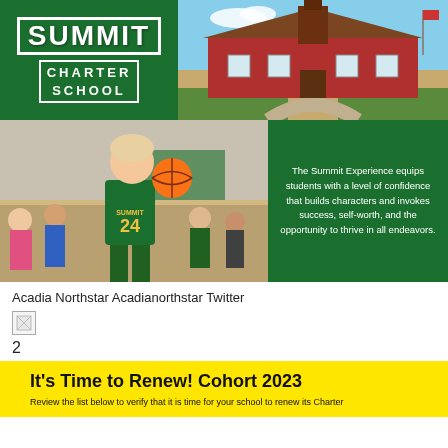[Figure (logo): Summit Charter School green logo with white text]
[Figure (photo): School building exterior photo with red barn-style building]
[Figure (photo): Basketball player wearing Summit jersey number 24]
The Summit Experience equips students with a level of confidence that builds characters and invokes success, self-worth, and the opportunity to thrive in all endeavors.
Acadia Northstar Acadianorthstar Twitter
[Figure (other): Broken image placeholder]
2
It's Time to Renew! Cohort 2023
Review the list below to verify that it is time for your school to renew its Charter